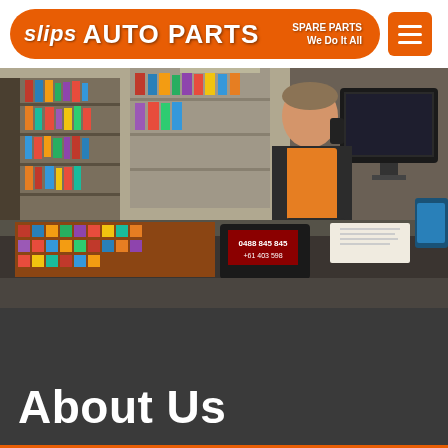slips AUTO PARTS SPARE PARTS We Do It All
[Figure (photo): Interior of Slips Auto Parts store showing a staff member in an orange vest talking on the phone while standing at a service counter. Shelves stocked with auto parts are visible in the background. The counter has various papers, a computer monitor, and a product display mat.]
About Us